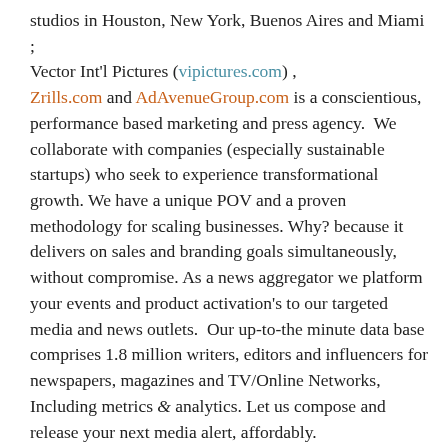studios in Houston, New York, Buenos Aires and Miami ; Vector Int'l Pictures (vipictures.com) , Zrills.com and AdAvenueGroup.com is a conscientious, performance based marketing and press agency.  We collaborate with companies (especially sustainable startups) who seek to experience transformational growth. We have a unique POV and a proven methodology for scaling businesses. Why? because it delivers on sales and branding goals simultaneously, without compromise. As a news aggregator we platform your events and product activation's to our targeted media and news outlets.  Our up-to-the minute data base comprises 1.8 million writers, editors and influencers for newspapers, magazines and TV/Online Networks, Including metrics & analytics. Let us compose and release your next media alert, affordably.